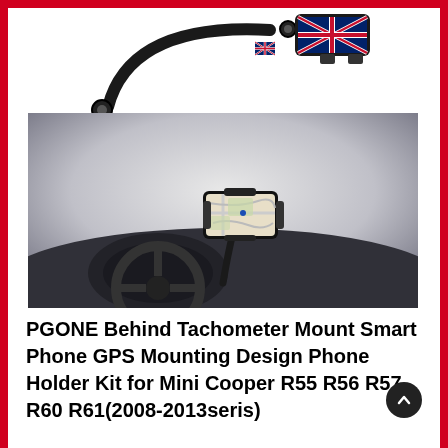[Figure (photo): Product photo showing a PGONE phone holder mount with Union Jack flag design on white background (standalone), and below it an installed view of the phone holder mounted behind a tachometer in a Mini Cooper interior with a phone showing a map.]
PGONE Behind Tachometer Mount Smart Phone GPS Mounting Design Phone Holder Kit for Mini Cooper R55 R56 R57 R60 R61(2008-2013seris)